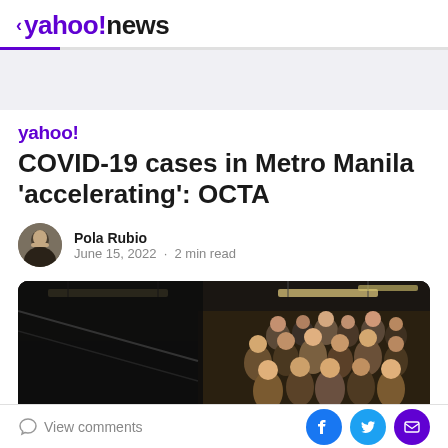< yahoo!news
[Figure (other): Grey advertisement/banner placeholder area]
yahoo!
COVID-19 cases in Metro Manila 'accelerating': OCTA
Pola Rubio
June 15, 2022 · 2 min read
[Figure (photo): Photo of a crowded escalator in Metro Manila with people wearing face masks, taken inside what appears to be a train station]
View comments